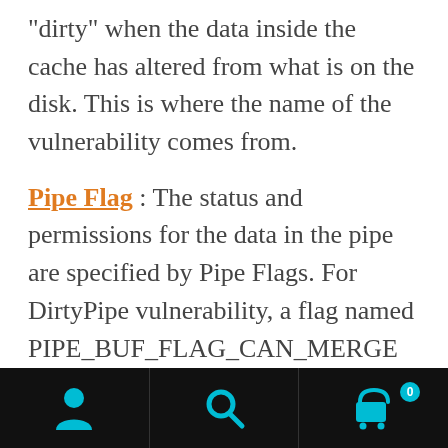“dirty” when the data inside the cache has altered from what is on the disk. This is where the name of the vulnerability comes from.
Pipe Flag : The status and permissions for the data in the pipe are specified by Pipe Flags. For DirtyPipe vulnerability, a flag named PIPE_BUF_FLAG_CAN_MERGE plays an important role by specifying that the data buffer inside the pipe can be merged.
[Figure (other): Mobile app navigation bar with three icons: user/profile icon on the left, search icon in the center, and shopping cart icon with badge showing '0' on the right. Black background with cyan/teal colored icons.]